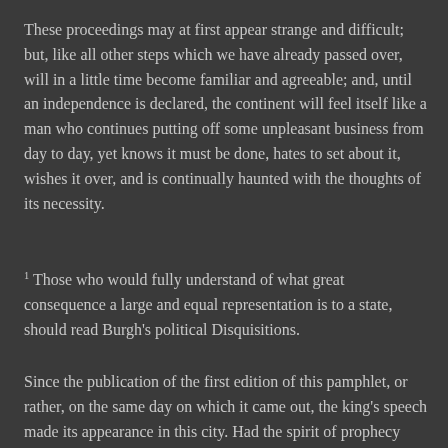These proceedings may at first appear strange and difficult; but, like all other steps which we have already passed over, will in a little time become familiar and agreeable; and, until an independence is declared, the continent will feel itself like a man who continues putting off some unpleasant business from day to day, yet knows it must be done, hates to set about it, wishes it over, and is continually haunted with the thoughts of its necessity.
1 Those who would fully understand of what great consequence a large and equal representation is to a state, should read Burgh's political Disquisitions.
Since the publication of the first edition of this pamphlet, or rather, on the same day on which it came out, the king's speech made its appearance in this city. Had the spirit of prophecy directed the birth of this production, it could not have brought it forth, at a more seasonable juncture, or a more necessary time. The bloody-mindedness of the one, show the necessity of pursuing the doctrine of the other. Men read by